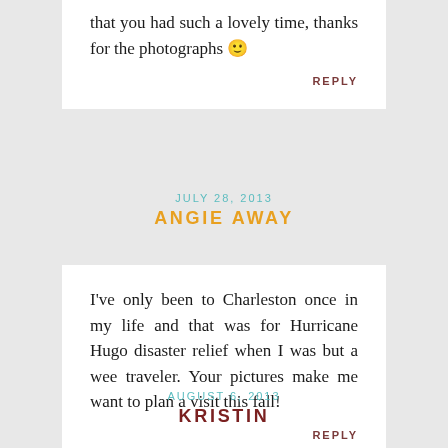that you had such a lovely time, thanks for the photographs 🙂
REPLY
JULY 28, 2013
ANGIE AWAY
I've only been to Charleston once in my life and that was for Hurricane Hugo disaster relief when I was but a wee traveler. Your pictures make me want to plan a visit this fall!
REPLY
AUGUST 6, 2013
KRISTIN